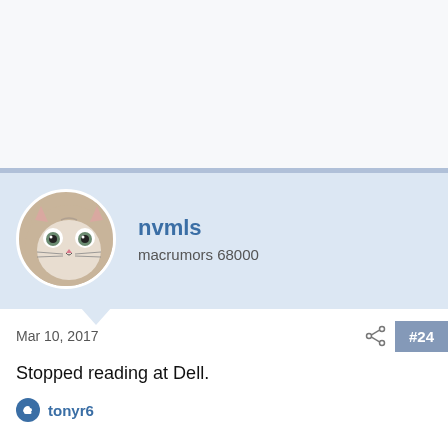[Figure (photo): User profile card with cat avatar photo for user nvmls, showing a surprised-looking white cat face]
nvmls
macrumors 68000
Mar 10, 2017
#24
Stopped reading at Dell.
tonyr6
Rvsymmot
macrumors newbie